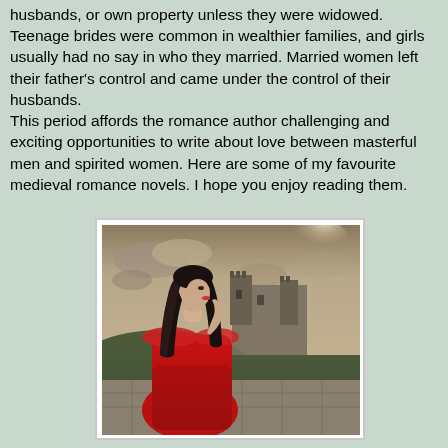husbands, or own property unless they were widowed. Teenage brides were common in wealthier families, and girls usually had no say in who they married. Married women left their father's control and came under the control of their husbands. This period affords the romance author challenging and exciting opportunities to write about love between masterful men and spirited women. Here are some of my favourite medieval romance novels. I hope you enjoy reading them.
[Figure (photo): A young woman with long dark hair wearing a red off-shoulder dress, looking to the side, with a medieval castle and dramatic cloudy sky in the background. The image has a sepia-toned, moody aesthetic.]